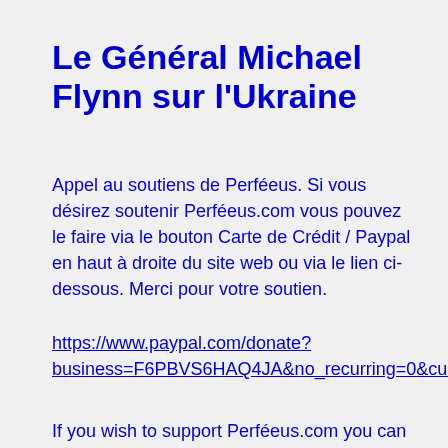Le Général Michael Flynn sur l'Ukraine
Appel au soutiens de Perféeus. Si vous désirez soutenir Perféeus.com vous pouvez le faire via le bouton Carte de Crédit / Paypal en haut à droite du site web ou via le lien ci-dessous. Merci pour votre soutien.
https://www.paypal.com/donate?business=F6PBVS6HAQ4JA&no_recurring=0&currency_code=CAD
If you wish to support Perféeus.com you can do